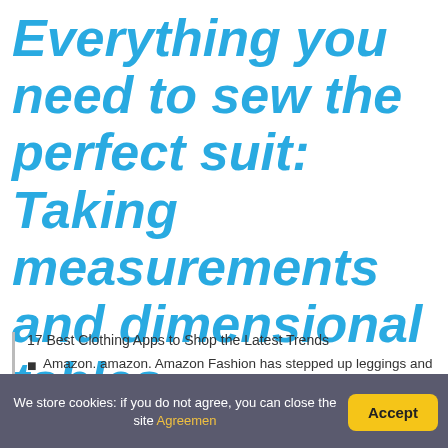Everything you need to sew the perfect suit: Taking measurements and dimensional tables
17 Best Clothing Apps to Shop the Latest Trends
Amazon. amazon. Amazon Fashion has stepped up leggings and dresses
We store cookies: if you do not agree, you can close the site Agreement